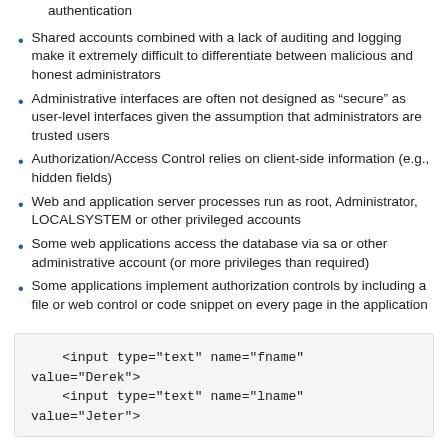authentication
Shared accounts combined with a lack of auditing and logging make it extremely difficult to differentiate between malicious and honest administrators
Administrative interfaces are often not designed as “secure” as user-level interfaces given the assumption that administrators are trusted users
Authorization/Access Control relies on client-side information (e.g., hidden fields)
Web and application server processes run as root, Administrator, LOCALSYSTEM or other privileged accounts
Some web applications access the database via sa or other administrative account (or more privileges than required)
Some applications implement authorization controls by including a file or web control or code snippet on every page in the application
<input type="text" name="fname"
value="Derek">
    <input type="text" name="lname"
value="Jeter">